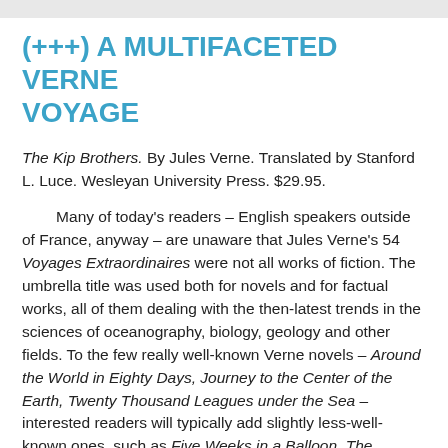(+++) A MULTIFACETED VERNE VOYAGE
The Kip Brothers. By Jules Verne. Translated by Stanford L. Luce. Wesleyan University Press. $29.95.
Many of today's readers – English speakers outside of France, anyway – are unaware that Jules Verne's 54 Voyages Extraordinaires were not all works of fiction. The umbrella title was used both for novels and for factual works, all of them dealing with the then-latest trends in the sciences of oceanography, biology, geology and other fields. To the few really well-known Verne novels – Around the World in Eighty Days, Journey to the Center of the Earth, Twenty Thousand Leagues under the Sea – interested readers will typically add slightly less-well-known ones, such as Five Weeks in a Balloon, The Mysterious Island and From the Earth to the Moon. Interestingly, the latest of these six, The Mysterious Island, dates only to 1875 – it was 12th in the series – but Verne continued writing these Voyages until